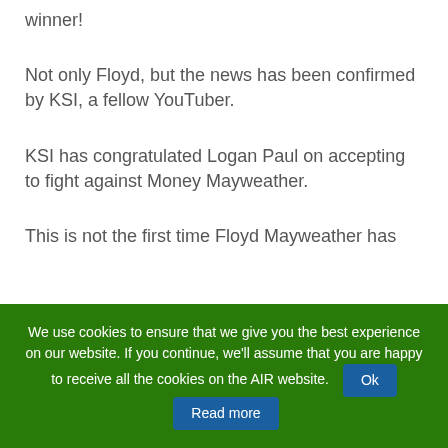winner!
Not only Floyd, but the news has been confirmed by KSI, a fellow YouTuber.
KSI has congratulated Logan Paul on accepting to fight against Money Mayweather.
This is not the first time Floyd Mayweather has
We use cookies to ensure that we give you the best experience on our website. If you continue, we'll assume that you are happy to receive all the cookies on the AIR website.